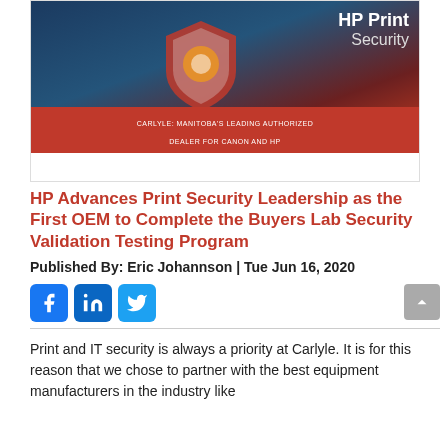[Figure (photo): HP Print Security promotional banner image showing a hand holding a glowing shield, with text 'HP Print Security' and a red banner reading 'CARLYLE: MANITOBA'S LEADING AUTHORIZED DEALER FOR CANON AND HP']
HP Advances Print Security Leadership as the First OEM to Complete the Buyers Lab Security Validation Testing Program
Published By: Eric Johannson | Tue Jun 16, 2020
[Figure (infographic): Social share buttons: Facebook, LinkedIn, Twitter, and a scroll-to-top button]
Print and IT security is always a priority at Carlyle. It is for this reason that we chose to partner with the best equipment manufacturers in the industry like